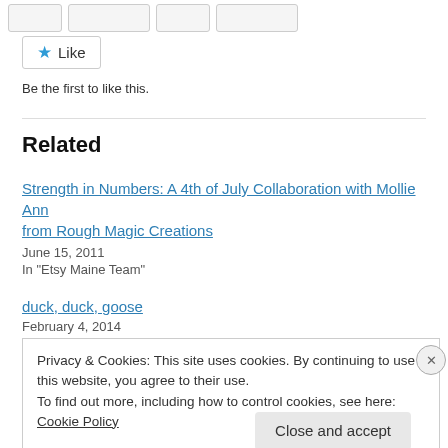[Figure (other): Row of social share/action buttons (stubs) at top]
★ Like
Be the first to like this.
Related
Strength in Numbers: A 4th of July Collaboration with Mollie Ann from Rough Magic Creations
June 15, 2011
In "Etsy Maine Team"
duck, duck, goose
February 4, 2014
Privacy & Cookies: This site uses cookies. By continuing to use this website, you agree to their use.
To find out more, including how to control cookies, see here: Cookie Policy
Close and accept